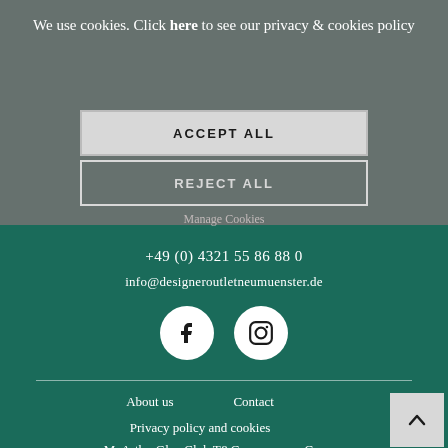We use cookies. Click here to see our privacy & cookies policy
ACCEPT ALL
REJECT ALL
Manage Cookies
+49 (0) 4321 55 86 88 0
info@designeroutletneumuenster.de
[Figure (logo): Facebook icon in white circle]
[Figure (logo): Instagram icon in white circle]
About us
Contact
Privacy policy and cookies
McArthurGlen Club T&Cs
Careers